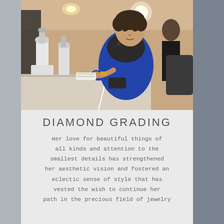[Figure (photo): A woman in a blue jacket and patterned scarf sits at a workbench with microscopes, examining a small object. The lab setting has multiple workstations with other people in the background. Bright overhead lighting illuminates the workspace.]
DIAMOND GRADING
Her love for beautiful things of all kinds and attention to the smallest details has strengthened her aesthetic vision and fostered an eclectic sense of style that has vested the wish to continue her path in the precious field of jewelry